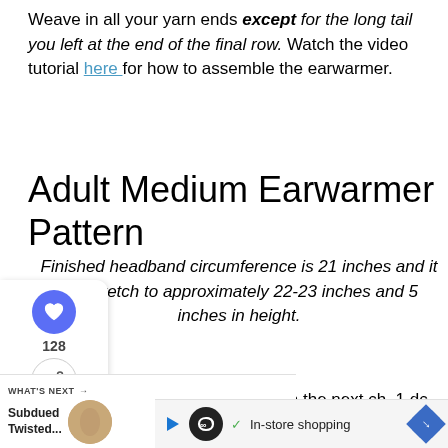Weave in all your yarn ends except for the long tail you left at the end of the final row. Watch the video tutorial here for how to assemble the earwarmer.
Adult Medium Earwarmer Pattern
Finished headband circumference is 21 inches and it will stretch to approximately 22-23 inches and 5 inches in height.
[Figure (screenshot): UI sidebar widget with heart/like button showing 128 likes and a share button]
[Figure (screenshot): What's Next recommendation widget showing Subdued Twisted... with thumbnail]
R1: Color A: Ch 61, sk 1 ch, *1 sc in the next ch, 1 dc in the next ch**. Rep from * to ** across. Change to Color [of the row]
[Figure (screenshot): Advertisement bar: In-store shopping with infinity loop icon, play button, checkmark, and navigation arrow]